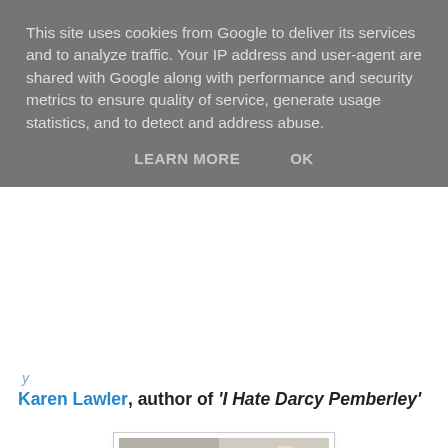This site uses cookies from Google to deliver its services and to analyze traffic. Your IP address and user-agent are shared with Google along with performance and security metrics to ensure quality of service, generate usage statistics, and to detect and address abuse.
LEARN MORE   OK
Karen Lawler, author of 'I Hate Darcy Pemberley'
[Figure (photo): Portrait photo of Karen Lawler, a woman with short dark hair wearing a blue and white floral sleeveless top, photographed indoors against a light-colored wall with a wall light fixture visible in the background.]